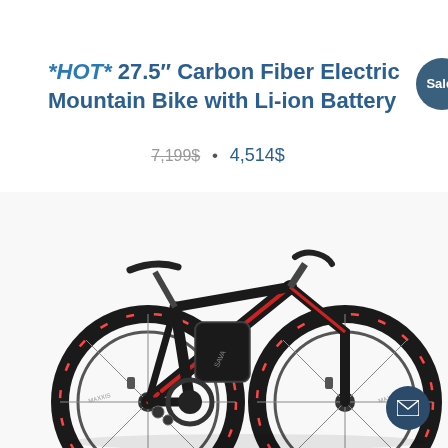*HOT* 27.5" Carbon Fiber Electric Mountain Bike with Li-ion Battery
7,199$ · 4,514$
[Figure (photo): A black and red carbon fiber electric mountain bike with 27.5-inch wheels, showing the full bike from the side with knobby tires and spoke wheels.]